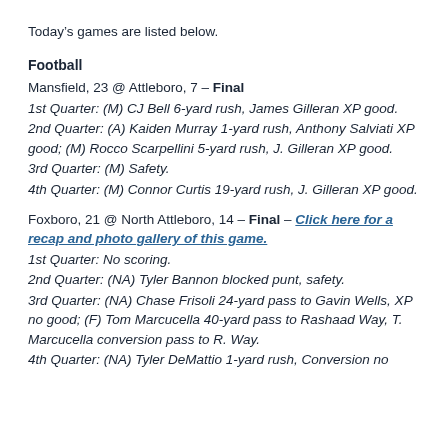Today’s games are listed below.
Football
Mansfield, 23 @ Attleboro, 7 – Final
1st Quarter: (M) CJ Bell 6-yard rush, James Gilleran XP good.
2nd Quarter: (A) Kaiden Murray 1-yard rush, Anthony Salviati XP good; (M) Rocco Scarpellini 5-yard rush, J. Gilleran XP good.
3rd Quarter: (M) Safety.
4th Quarter: (M) Connor Curtis 19-yard rush, J. Gilleran XP good.
Foxboro, 21 @ North Attleboro, 14 – Final – Click here for a recap and photo gallery of this game.
1st Quarter: No scoring.
2nd Quarter: (NA) Tyler Bannon blocked punt, safety.
3rd Quarter: (NA) Chase Frisoli 24-yard pass to Gavin Wells, XP no good; (F) Tom Marcucella 40-yard pass to Rashaad Way, T. Marcucella conversion pass to R. Way.
4th Quarter: (NA) Tyler DeMattio 1-yard rush, Conversion no